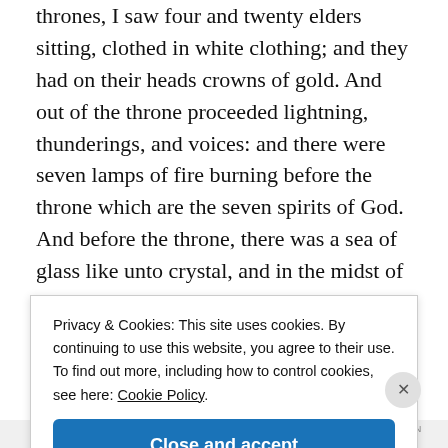thrones, I saw four and twenty elders sitting, clothed in white clothing; and they had on their heads crowns of gold. And out of the throne proceeded lightning, thunderings, and voices: and there were seven lamps of fire burning before the throne which are the seven spirits of God. And before the throne, there was a sea of glass like unto crystal, and in the midst of the throne and round about the throne were four living creatures full of eyes in front and behind. And the first living
Privacy & Cookies: This site uses cookies. By continuing to use this website, you agree to their use.
To find out more, including how to control cookies, see here: Cookie Policy
Close and accept